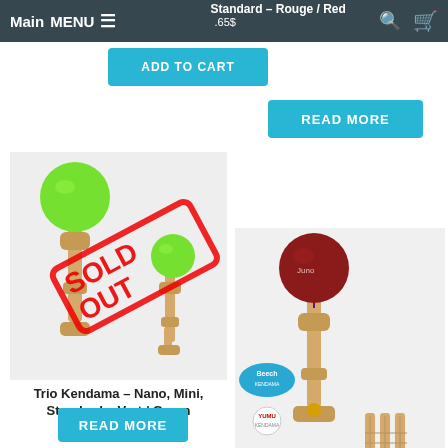Main MENU  ≡   Standard – Rouge / Red  .65$
[Figure (photo): Blue 'ADD TO CART' button partially visible at top left]
[Figure (photo): Blue 'READ MORE' button for Standard Rouge/Red product]
[Figure (photo): Trio Kendama set with Nano, Mini, Standard in Vert/Green color — SOLD OUT stamp overlay]
Trio Kendama – Nano, Mini, Standard – Vert / Green
49.85$
[Figure (photo): Blue 'READ MORE' button for Trio Kendama product]
[Figure (photo): YUMU 2.0 – 5th anniversary 4 spikes – Red kendama with Beech and YUMU logos]
YUMU 2.0 – 5th anniversary- 4 spikes – Red
39.95$
[Figure (photo): Blue 'ADD TO CART' button for YUMU 2.0 product]
[Figure (photo): Partial view of smiley face kendama ball at bottom left]
[Figure (photo): Partial view of green ball kendama at bottom right]